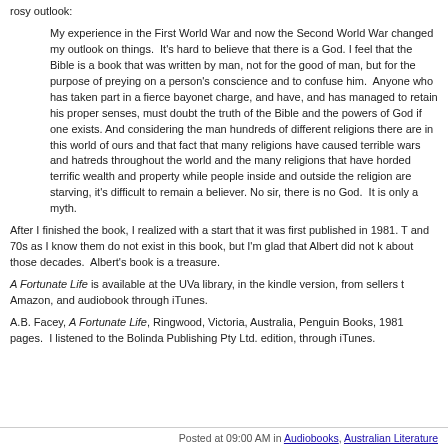rosy outlook:
My experience in the First World War and now the Second World War changed my outlook on things. It's hard to believe that there is a God. I feel that the Bible is a book that was written by man, not for the good of man, but for the purpose of preying on a person's conscience and to confuse him. Anyone who has taken part in a fierce bayonet charge, and have, and has managed to retain his proper senses, must doubt the truth of the Bible and the powers of God if one exists. And considering the man hundreds of different religions there are in this world of ours and that fact that many religions have caused terrible wars and hatreds throughout the world and the many religions that have horded terrific wealth and property while people inside and outside the religion are starving, it's difficult to remain a believer. No sir, there is no God. It is only a myth.
After I finished the book, I realized with a start that it was first published in 1981. The 60s and 70s as I know them do not exist in this book, but I'm glad that Albert did not k... about those decades. Albert's book is a treasure.
A Fortunate Life is available at the UVa library, in the kindle version, from sellers t... Amazon, and audiobook through iTunes.
A.B. Facey, A Fortunate Life, Ringwood, Victoria, Australia, Penguin Books, 1981... pages. I listened to the Bolinda Publishing Pty Ltd. edition, through iTunes.
Posted at 09:00 AM in Audiobooks, Australian Literature